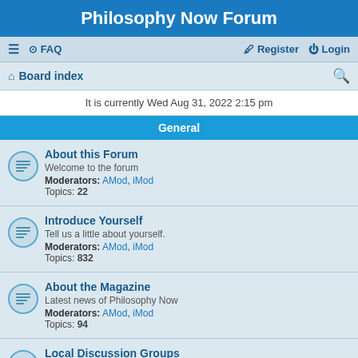Philosophy Now Forum
≡  FAQ    Register  Login   Board index   (search icon)
It is currently Wed Aug 31, 2022 2:15 pm
General
About this Forum
Welcome to the forum
Moderators: AMod, iMod
Topics: 22
Introduce Yourself
Tell us a little about yourself.
Moderators: AMod, iMod
Topics: 832
About the Magazine
Latest news of Philosophy Now
Moderators: AMod, iMod
Topics: 94
Local Discussion Groups
Philosophy Now meetup groups.
Moderators: AMod, iMod
Topics: 49
The Lounge
General chit-chat.